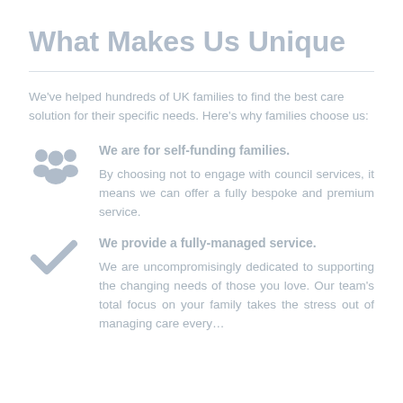What Makes Us Unique
We've helped hundreds of UK families to find the best care solution for their specific needs. Here's why families choose us:
We are for self-funding families. By choosing not to engage with council services, it means we can offer a fully bespoke and premium service.
We provide a fully-managed service. We are uncompromisingly dedicated to supporting the changing needs of those you love. Our team's total focus on your family takes the stress out of managing care every...